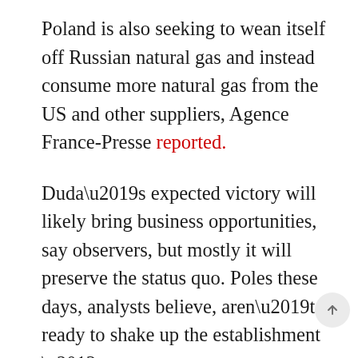Poland is also seeking to wean itself off Russian natural gas and instead consume more natural gas from the US and other suppliers, Agence France-Presse reported.
Duda’s expected victory will likely bring business opportunities, say observers, but mostly it will preserve the status quo. Poles these days, analysts believe, aren’t ready to shake up the establishment – yet.